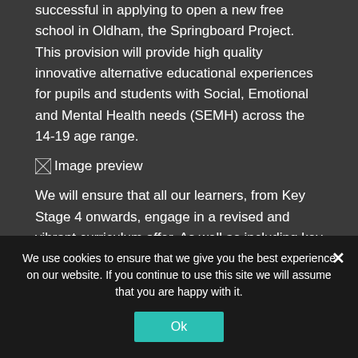successful in applying to open a new free school in Oldham, the Springboard Project. This provision will provide high quality innovative alternative educational experiences for pupils and students with Social, Emotional and Mental Health needs (SEMH) across the 14-19 age range.
[Figure (photo): Image preview placeholder shown as broken image icon with text 'Image preview']
We will ensure that all our learners, from Key Stage 4 onwards, engage in a revised and vibrant curriculum offer. As well as including key skills, the young people will also have the chance to experience a wide range of vocational and extending learning opportunities.
Partial text cut off at bottom of page
We use cookies to ensure that we give you the best experience on our website. If you continue to use this site we will assume that you are happy with it.